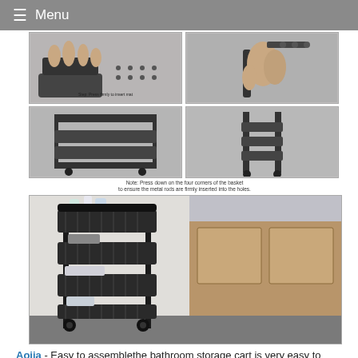≡ Menu
[Figure (photo): Assembly instruction images showing steps to assemble a rolling storage cart: hands pressing parts together, cart frame, baskets being attached, and close-up of wheel/rod attachment.]
Note: Press down on the four corners of the basket to ensure the metal rods are firmly inserted into the holes.
[Figure (photo): Product photo of a black 4-tier rolling utility/storage cart placed in a bathroom next to a wooden cabinet, with toiletries and towels on the shelves.]
Aojia - Easy to assemblethe bathroom storage cart is very easy to install without any extra tools Dimension 1575 l x 866 w x35 h This partical small utility cart is great extra storage for smaller